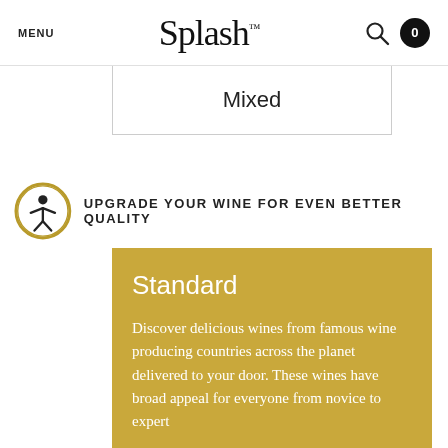MENU  Splash™  🔍  0
Mixed
UPGRADE YOUR WINE FOR EVEN BETTER QUALITY
Standard
Discover delicious wines from famous wine producing countries across the planet delivered to your door. These wines have broad appeal for everyone from novice to expert